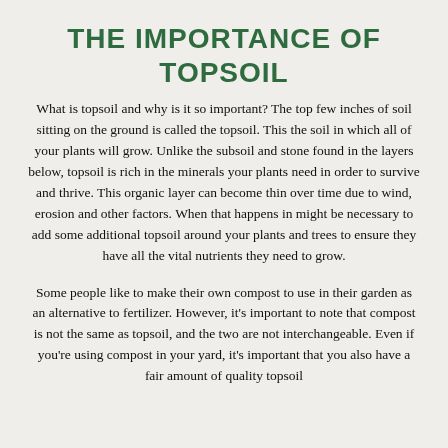THE IMPORTANCE OF TOPSOIL
What is topsoil and why is it so important? The top few inches of soil sitting on the ground is called the topsoil. This the soil in which all of your plants will grow. Unlike the subsoil and stone found in the layers below, topsoil is rich in the minerals your plants need in order to survive and thrive. This organic layer can become thin over time due to wind, erosion and other factors. When that happens in might be necessary to add some additional topsoil around your plants and trees to ensure they have all the vital nutrients they need to grow.
Some people like to make their own compost to use in their garden as an alternative to fertilizer. However, it's important to note that compost is not the same as topsoil, and the two are not interchangeable. Even if you're using compost in your yard, it's important that you also have a fair amount of quality topsoil